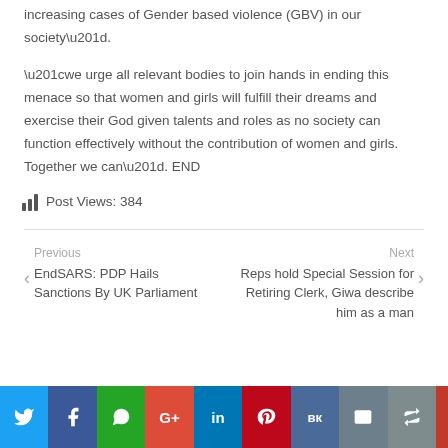increasing cases of Gender based violence (GBV) in our society”.
“we urge all relevant bodies to join hands in ending this menace so that women and girls will fulfill their dreams and exercise their God given talents and roles as no society can function effectively without the contribution of women and girls. Together we can”. END
Post Views: 384
Previous
EndSARS: PDP Hails Sanctions By UK Parliament
Next
Reps hold Special Session for Retiring Clerk, Giwa describe him as a man